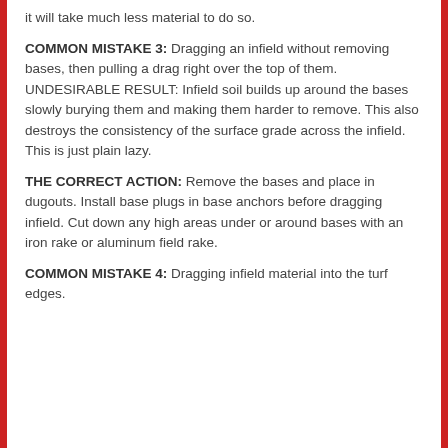it will take much less material to do so.
COMMON MISTAKE 3: Dragging an infield without removing bases, then pulling a drag right over the top of them. UNDESIRABLE RESULT: Infield soil builds up around the bases slowly burying them and making them harder to remove. This also destroys the consistency of the surface grade across the infield. This is just plain lazy.
THE CORRECT ACTION: Remove the bases and place in dugouts. Install base plugs in base anchors before dragging infield. Cut down any high areas under or around bases with an iron rake or aluminum field rake.
COMMON MISTAKE 4: Dragging infield material into the turf edges.